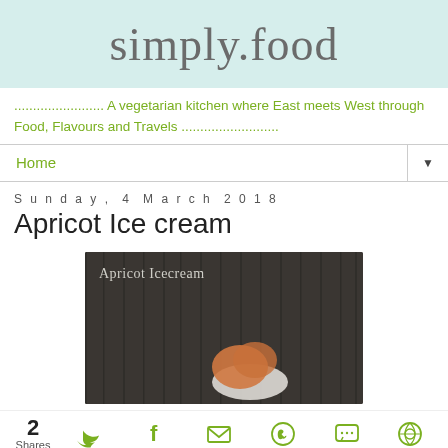simply.food
........................ A vegetarian kitchen where East meets West through Food, Flavours and Travels ..........................
Home ▼
Sunday, 4 March 2018
Apricot Ice cream
[Figure (photo): Dark background image showing apricot ice cream with text overlay 'Apricot Icecream' in script font]
2 Shares